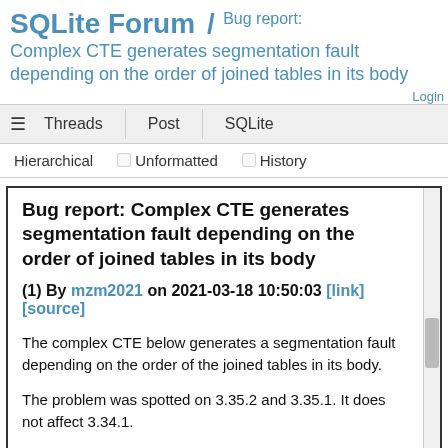SQLite Forum / Bug report: Complex CTE generates segmentation fault depending on the order of joined tables in its body
Login
≡  Threads  Post  SQLite
Hierarchical  □Unformatted  □History
Bug report: Complex CTE generates segmentation fault depending on the order of joined tables in its body
(1) By mzm2021 on 2021-03-18 10:50:03 [link] [source]
The complex CTE below generates a segmentation fault depending on the order of the joined tables in its body.

The problem was spotted on 3.35.2 and 3.35.1. It does not affect 3.34.1.